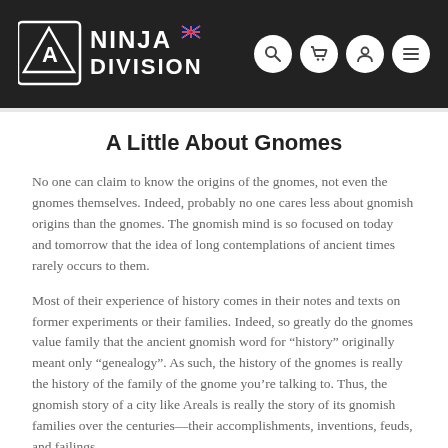Ninja Division
A Little About Gnomes
No one can claim to know the origins of the gnomes, not even the gnomes themselves. Indeed, probably no one cares less about gnomish origins than the gnomes. The gnomish mind is so focused on today and tomorrow that the idea of long contemplations of ancient times rarely occurs to them.
Most of their experience of history comes in their notes and texts on former experiments or their families. Indeed, so greatly do the gnomes value family that the ancient gnomish word for “history” originally meant only “genealogy”. As such, the history of the gnomes is really the history of the family of the gnome you’re talking to. Thus, the gnomish story of a city like Areals is really the story of its gnomish families over the centuries—their accomplishments, inventions, feuds, and failings